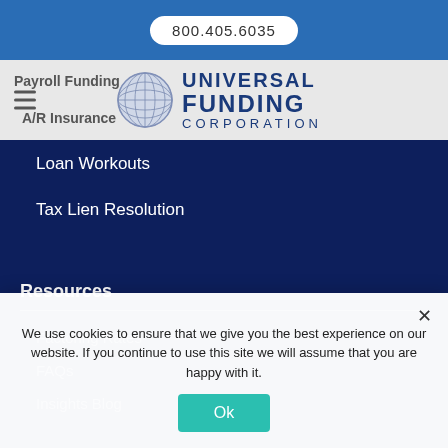800.405.6035
[Figure (logo): Universal Funding Corporation globe logo with company name]
Payroll Funding
A/R Insurance
Loan Workouts
Tax Lien Resolution
Resources
Factoring Rates
FAQs
Insights Blog
We use cookies to ensure that we give you the best experience on our website. If you continue to use this site we will assume that you are happy with it.